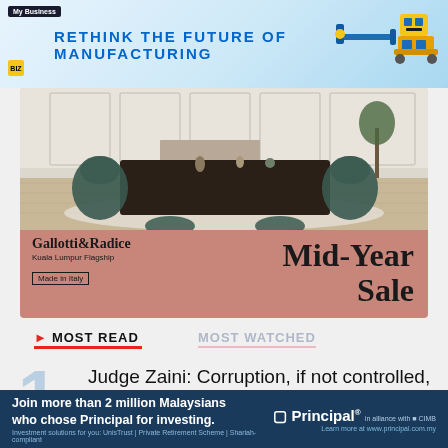RETHINK THE FUTURE OF MANUFACTURING
[Figure (photo): Gallotti & Radice Kuala Lumpur Flagship Mid-Year Sale advertisement showing elegant dining room furniture]
MOST READ
MOST WATCHED
1  Judge Zaini: Corruption, if not controlled, would reach every level of society
[Figure (infographic): Principal investment banner: Join more than 2 million Malaysians who chose Principal for investing. Investment solutions for you: UnisTrust | Private Retirement Scheme | Shariah-compliant. Learn more at www.principal.com.my]